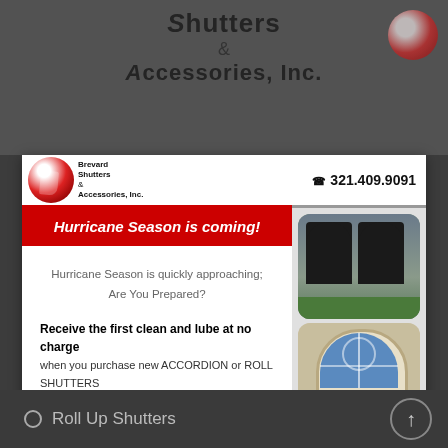[Figure (logo): Brevard Shutters & Accessories Inc. logo with red circular graphic - top faded background banner]
[Figure (logo): Brevard Shutters & Accessories Inc. logo with red circular swirl graphic in card header]
321.409.9091
Hurricane Season is coming!
Hurricane Season is quickly approaching; Are You Prepared?
Receive the first clean and lube at no charge when you purchase new ACCORDION or ROLL SHUTTERS
Accordion Shutter
Roll Up Shutters
Click here to Contact Us
[Figure (photo): Building exterior with dark accordion hurricane shutters installed on arched windows, green landscaping]
[Figure (photo): Building exterior with arched window featuring blue glass and decorative arch detail, green shrub below]
Roll Up Shutters